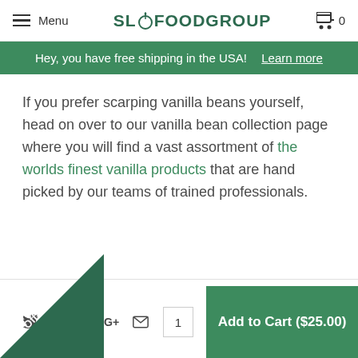Menu | SLOFOODGROUP | Cart 0
Hey, you have free shipping in the USA! Learn more
If you prefer scarping vanilla beans yourself, head on over to our vanilla bean collection page where you will find a vast assortment of the worlds finest vanilla products that are hand picked by our teams of trained professionals.
Add to Cart ($25.00)